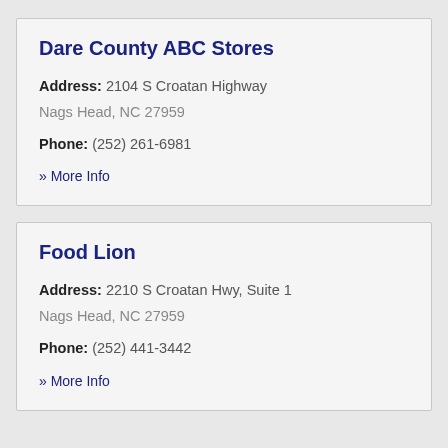Dare County ABC Stores
Address: 2104 S Croatan Highway
Nags Head, NC 27959
Phone: (252) 261-6981
» More Info
Food Lion
Address: 2210 S Croatan Hwy, Suite 1
Nags Head, NC 27959
Phone: (252) 441-3442
» More Info